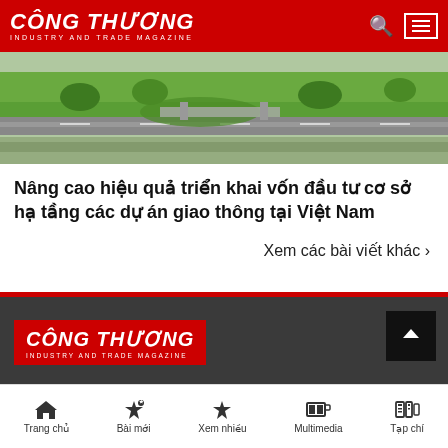CÔNG THƯƠNG INDUSTRY AND TRADE MAGAZINE
[Figure (photo): Aerial view of roads and green spaces, infrastructure in Vietnam]
Nâng cao hiệu quả triển khai vốn đầu tư cơ sở hạ tầng các dự án giao thông tại Việt Nam
Xem các bài viết khác ›
[Figure (logo): CÔNG THƯƠNG INDUSTRY AND TRADE MAGAZINE logo in footer on dark background]
Trang chủ  Bài mới  Xem nhiều  Multimedia  Tạp chí